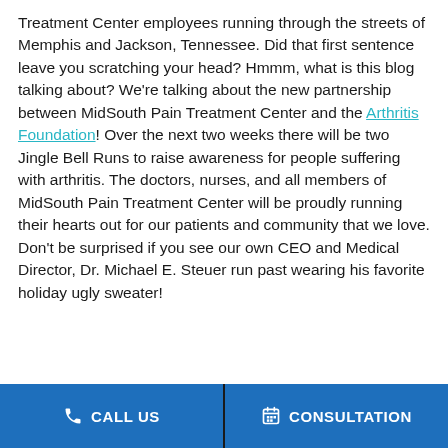Treatment Center employees running through the streets of Memphis and Jackson, Tennessee.  Did that first sentence leave you scratching your head?  Hmmm, what is this blog talking about?  We're talking about the new partnership between MidSouth Pain Treatment Center and the Arthritis Foundation!  Over the next two weeks there will be two Jingle Bell Runs to raise awareness for people suffering with arthritis.  The doctors, nurses, and all members of MidSouth Pain Treatment Center will be proudly running their hearts out for our patients and community that we love.  Don't be surprised if you see our own CEO and Medical Director, Dr. Michael E. Steuer run past wearing his favorite holiday ugly sweater!
CALL US | CONSULTATION